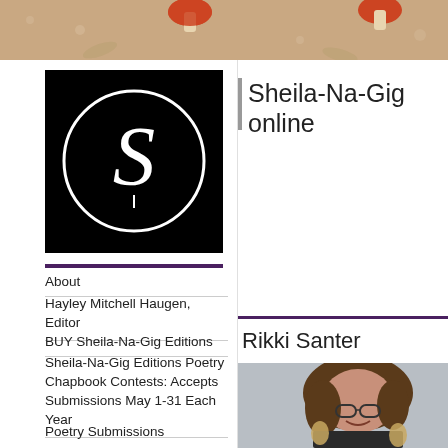[Figure (illustration): Decorative header band with floral/mushroom motif in taupe/brown tones with red mushrooms]
[Figure (logo): Sheila-Na-Gig online logo: black square with white circle containing a stylized S letterform]
Sheila-Na-Gig online
About
Hayley Mitchell Haugen, Editor
BUY Sheila-Na-Gig Editions
Sheila-Na-Gig Editions Poetry Chapbook Contests: Accepts Submissions May 1-31 Each Year
Poetry Submissions
Rikki Santer
[Figure (photo): Portrait photo of a woman with long brown hair, glasses, and large leaf-shaped earrings, smiling in front of a light-colored brick wall]